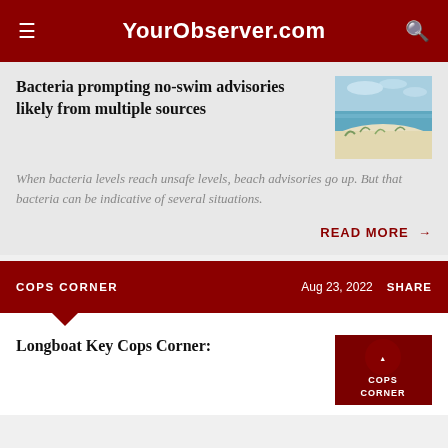YourObserver.com
Bacteria prompting no-swim advisories likely from multiple sources
[Figure (photo): Aerial or ground-level view of a beach with white sand, turquoise water, and sparse vegetation along the shoreline.]
When bacteria levels reach unsafe levels, beach advisories go up. But that bacteria can be indicative of several situations.
READ MORE →
COPS CORNER
Aug 23, 2022
SHARE
Longboat Key Cops Corner:
[Figure (logo): Cops Corner logo — dark red background with white bold text reading COPS CORNER]